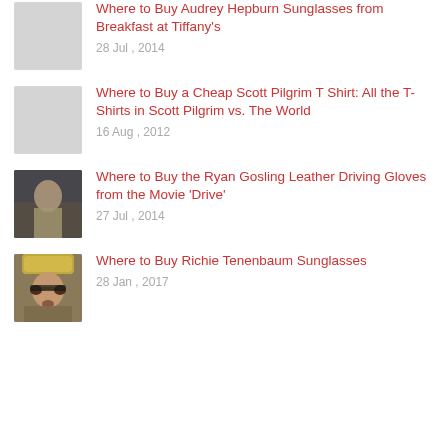Where to Buy Audrey Hepburn Sunglasses from Breakfast at Tiffany's
28 Jul , 2014
Where to Buy a Cheap Scott Pilgrim T Shirt: All the T-Shirts in Scott Pilgrim vs. The World
16 Aug , 2012
Where to Buy the Ryan Gosling Leather Driving Gloves from the Movie 'Drive'
27 Jul , 2014
Where to Buy Richie Tenenbaum Sunglasses
28 Jan , 2017